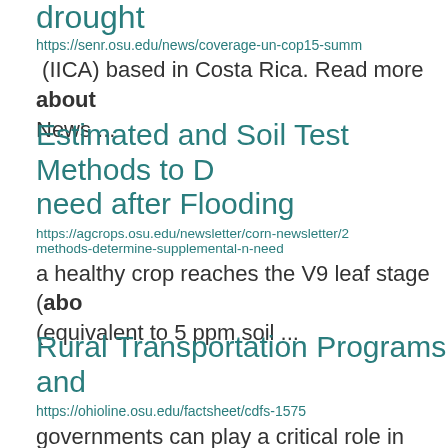drought
https://senr.osu.edu/news/coverage-un-cop15-summ
(IICA) based in Costa Rica. Read more about News ...
Estimated and Soil Test Methods to D need after Flooding
https://agcrops.osu.edu/newsletter/corn-newsletter/2 methods-determine-supplemental-n-need
a healthy crop reaches the V9 leaf stage (abo (equivalent to 5 ppm soil ...
Rural Transportation Programs and
https://ohioline.osu.edu/factsheet/cdfs-1575
governments can play a critical role in streng